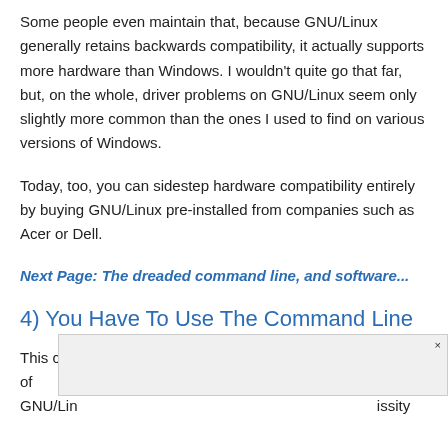Some people even maintain that, because GNU/Linux generally retains backwards compatibility, it actually supports more hardware than Windows. I wouldn't quite go that far, but, on the whole, driver problems on GNU/Linux seem only slightly more common than the ones I used to find on various versions of Windows.
Today, too, you can sidestep hardware compatibility entirely by buying GNU/Linux pre-installed from companies such as Acer or Dell.
Next Page: The dreaded command line, and software...
4) You Have To Use The Command Line
This claim seems a mixture of rumors about the early days of GNU/Linux, and...issity